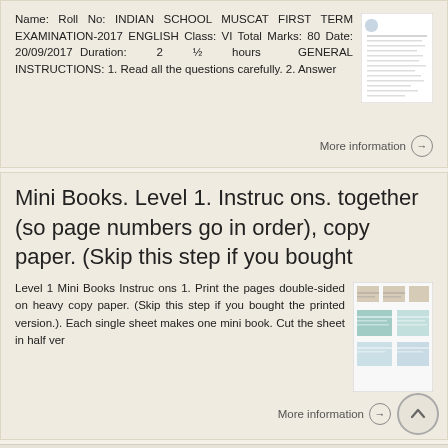Name: Roll No: INDIAN SCHOOL MUSCAT FIRST TERM EXAMINATION-2017 ENGLISH Class: VI Total Marks: 80 Date: 20/09/2017 Duration: 2 ½ hours GENERAL INSTRUCTIONS: 1. Read all the questions carefully. 2. Answer
More information →
Mini Books. Level 1. Instruc ons. together (so page numbers go in order), copy paper. (Skip this step if you bought
Level 1 Mini Books Instruc ons 1. Print the pages double-sided on heavy copy paper. (Skip this step if you bought the printed version.). Each single sheet makes one mini book. Cut the sheet in half ver
More information →